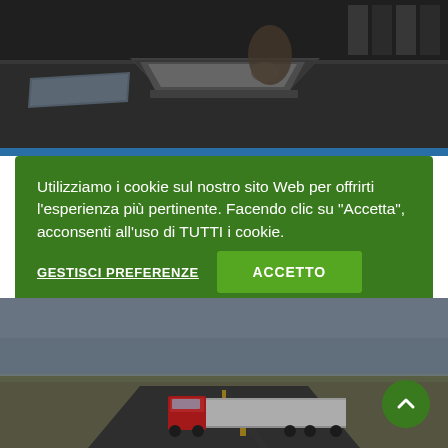[Figure (photo): Office scene with person pointing at open laptop/folder on a table, dark background with storage shelves visible]
[Figure (photo): Red semi-truck with white trailer driving on a desert highway, aerial view]
Utilizziamo i cookie sul nostro sito Web per offrirti l'esperienza più pertinente. Facendo clic su "Accetta", acconsenti all'uso di TUTTI i cookie.
GESTISCI PREFERENZE
ACCETTO